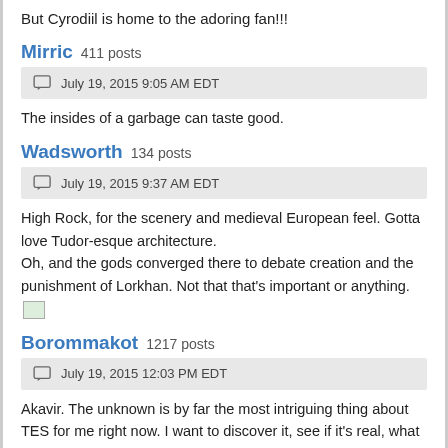But Cyrodiil is home to the adoring fan!!!
Mirric  411 posts
July 19, 2015 9:05 AM EDT
The insides of a garbage can taste good.
Wadsworth  134 posts
July 19, 2015 9:37 AM EDT
High Rock, for the scenery and medieval European feel. Gotta love Tudor-esque architecture.
Oh, and the gods converged there to debate creation and the punishment of Lorkhan. Not that that's important or anything.
Borommakot  1217 posts
July 19, 2015 12:03 PM EDT
Akavir. The unknown is by far the most intriguing thing about TES for me right now. I want to discover it, see if it's real, what these races and cultures are really like. After that, Black Marsh. What's really going on in that Australia-esque murder-swamp?